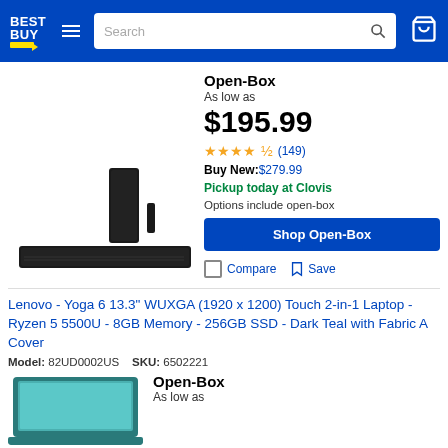Best Buy - Search bar - Cart
[Figure (photo): Samsung soundbar and subwoofer product image]
Open-Box
As low as
$195.99
★★★★½ (149)
Buy New: $279.99
Pickup today at Clovis
Options include open-box
Shop Open-Box
Compare   Save
Lenovo - Yoga 6 13.3" WUXGA (1920 x 1200) Touch 2-in-1 Laptop - Ryzen 5 5500U - 8GB Memory - 256GB SSD - Dark Teal with Fabric A Cover
Model: 82UD0002US   SKU: 6502221
[Figure (photo): Lenovo Yoga 6 laptop product image, teal color]
Open-Box
As low as